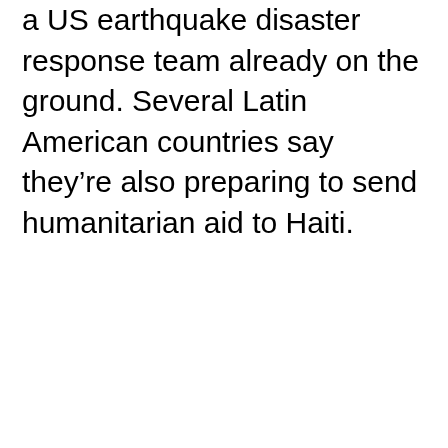a US earthquake disaster response team already on the ground. Several Latin American countries say they're also preparing to send humanitarian aid to Haiti.